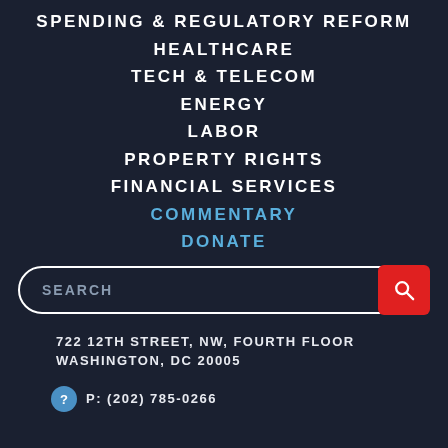SPENDING & REGULATORY REFORM
HEALTHCARE
TECH & TELECOM
ENERGY
LABOR
PROPERTY RIGHTS
FINANCIAL SERVICES
COMMENTARY
DONATE
SEARCH
722 12TH STREET, NW, FOURTH FLOOR
WASHINGTON, DC 20005
P: (202) 785-0266